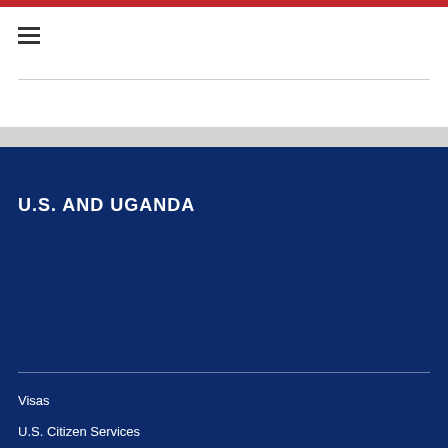U.S. AND UGANDA
Visas
U.S. Citizen Services
Our Relationship
Business
Education & Culture
Embassy
News & Events